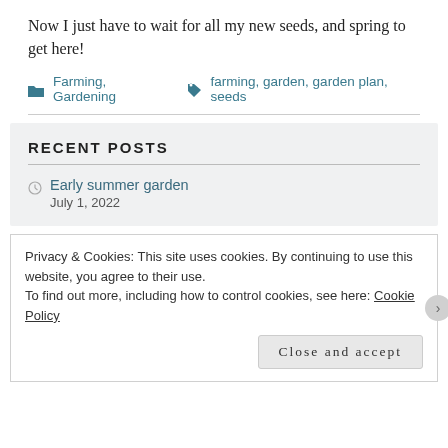Now I just have to wait for all my new seeds, and spring to get here!
Farming, Gardening   farming, garden, garden plan, seeds
RECENT POSTS
Early summer garden
July 1, 2022
Privacy & Cookies: This site uses cookies. By continuing to use this website, you agree to their use.
To find out more, including how to control cookies, see here: Cookie Policy
Close and accept